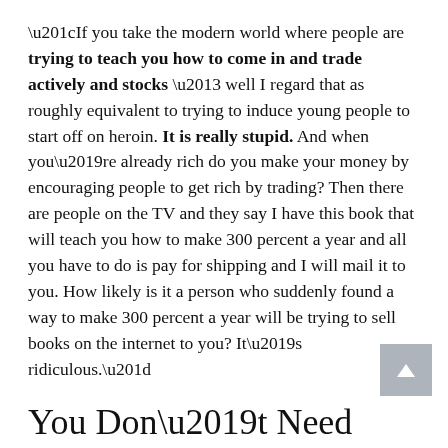“If you take the modern world where people are trying to teach you how to come in and trade actively and stocks – well I regard that as roughly equivalent to trying to induce young people to start off on heroin. It is really stupid. And when you’re already rich do you make your money by encouraging people to get rich by trading? Then there are people on the TV and they say I have this book that will teach you how to make 300 percent a year and all you have to do is pay for shipping and I will mail it to you. How likely is it a person who suddenly found a way to make 300 percent a year will be trying to sell books on the internet to you? It’s ridiculous.”
You Don’t Need Many Great Decisions
“If you actually…